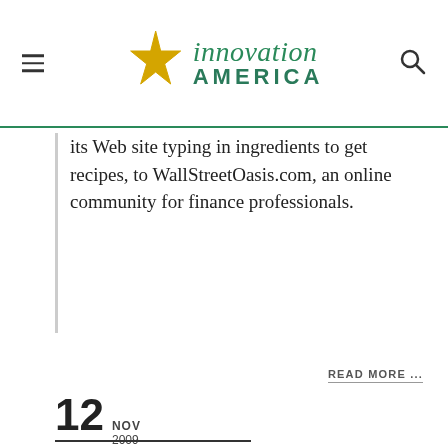Innovation America
its Web site typing in ingredients to get recipes, to WallStreetOasis.com, an online community for finance professionals.
READ MORE ...
12 NOV 2009
A Glimmer of Light in Venture-Capital Land